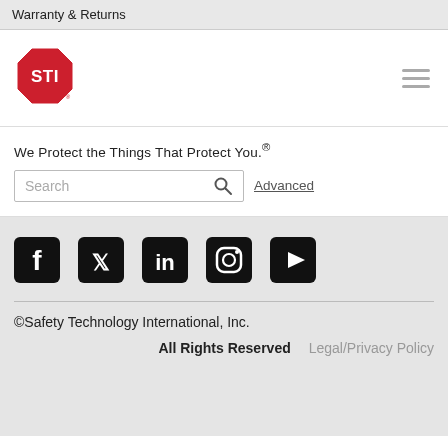Warranty & Returns
[Figure (logo): STI red octagon stop-sign logo with white STI text]
We Protect the Things That Protect You.®
Search | Advanced
[Figure (infographic): Row of social media icons: Facebook, Twitter, LinkedIn, Instagram, YouTube]
©Safety Technology International, Inc.
All Rights Reserved   Legal/Privacy Policy